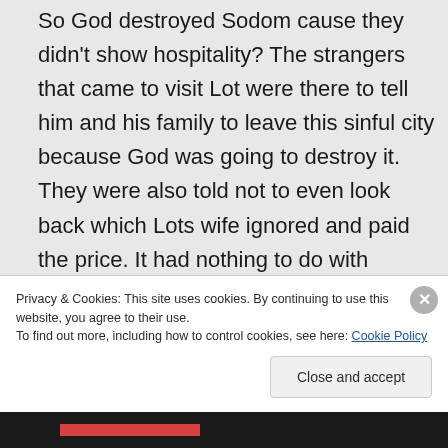So God destroyed Sodom cause they didn't show hospitality? The strangers that came to visit Lot were there to tell him and his family to leave this sinful city because God was going to destroy it. They were also told not to even look back which Lots wife ignored and paid the price. It had nothing to do with hospitality the men of Sodom were threatening to come in and get them
Privacy & Cookies: This site uses cookies. By continuing to use this website, you agree to their use.
To find out more, including how to control cookies, see here: Cookie Policy
Close and accept